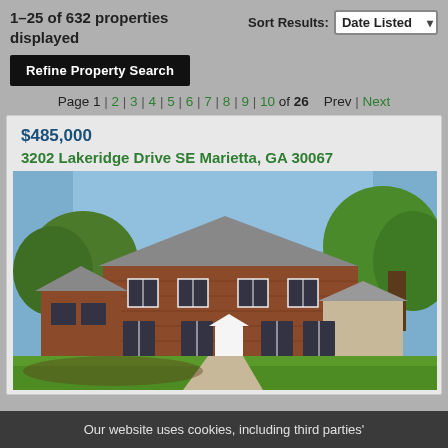1–25 of 632 properties displayed
Sort Results: Date Listed
Refine Property Search
Page 1 | 2 | 3 | 4 | 5 | 6 | 7 | 8 | 9 | 10 of 26  Prev | Next
$485,000
3202 Lakeridge Drive SE Marietta, GA 30067
[Figure (photo): Front exterior photo of a two-story brick colonial house with black shutters, white front door with pediment, attached garage wing, surrounded by mature trees and a large green lawn.]
Our website uses cookies, including third parties'